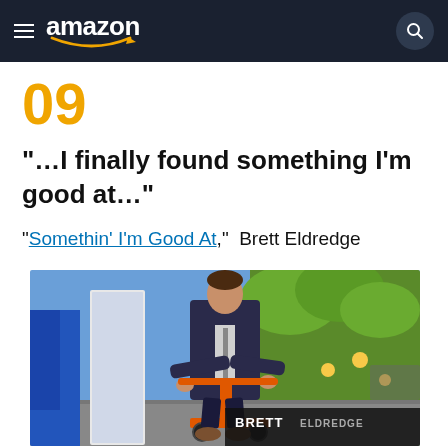amazon
09
“…I finally found something I’m good at…”
“Somethin' I'm Good At,” Brett Eldredge
[Figure (photo): Brett Eldredge album cover photo showing a person in a dark suit riding an orange scooter, with text BRETT ELDREDGE on the bottom right, colorful outdoor background with sunflowers]